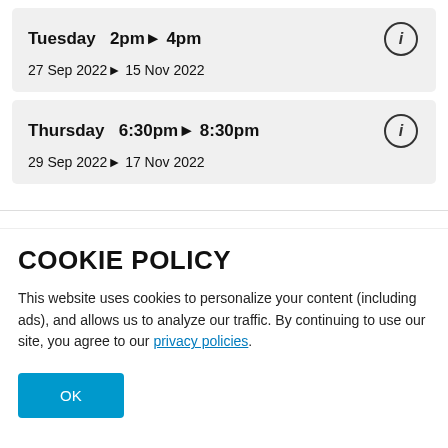Tuesday   2pm▶ 4pm
27 Sep 2022▶ 15 Nov 2022
Thursday   6:30pm▶ 8:30pm
29 Sep 2022▶ 17 Nov 2022
HIGHER CONVERSATION (B2+)
SPEAK
This course will give you the opportunity to discuss and
COOKIE POLICY
This website uses cookies to personalize your content (including ads), and allows us to analyze our traffic. By continuing to use our site, you agree to our privacy policies.
OK